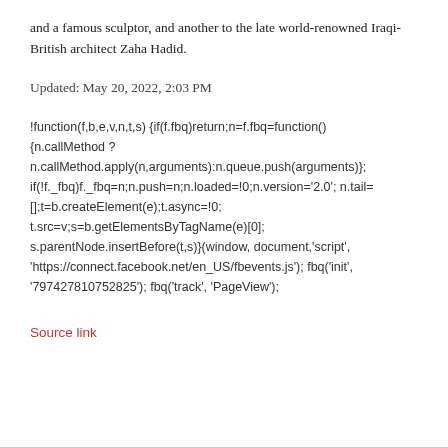and a famous sculptor, and another to the late world-renowned Iraqi-British architect Zaha Hadid.
Updated: May 20, 2022, 2:03 PM
!function(f,b,e,v,n,t,s) {if(f.fbq)return;n=f.fbq=function() {n.callMethod ? n.callMethod.apply(n,arguments):n.queue.push(arguments)}; if(!f._fbq)f._fbq=n;n.push=n;n.loaded=!0;n.version='2.0'; n.tail= [];t=b.createElement(e);t.async=!0; t.src=v;s=b.getElementsByTagName(e)[0]; s.parentNode.insertBefore(t,s)}(window, document,'script', 'https://connect.facebook.net/en_US/fbevents.js'); fbq('init', '797427810752825'); fbq('track', 'PageView');
Source link